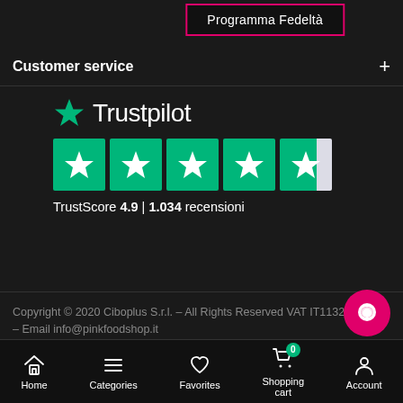Programma Fedeltà
Customer service
[Figure (logo): Trustpilot logo with green star and text 'Trustpilot', five green star rating boxes, TrustScore 4.9 | 1.034 recensioni]
Copyright © 2020 Ciboplus S.r.l. – All Rights Reserved VAT IT11321850965 – Email info@pinkfoodshop.it
[Figure (infographic): Bottom navigation bar with Home, Categories, Favorites, Shopping cart (badge: 0), Account icons]
[Figure (other): Pink circular chat/support button at bottom right]